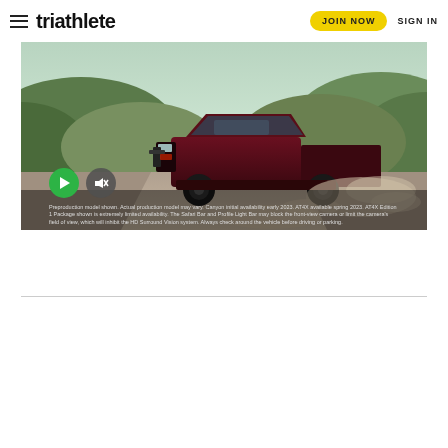triathlete | JOIN NOW | SIGN IN
[Figure (screenshot): Video advertisement showing a dark red GMC Canyon AT4X truck driving on a dirt road through green hills, with play and mute buttons and disclaimer text overlay]
Preproduction model shown. Actual production model may vary. Canyon initial availability early 2023. AT4X available spring 2023. AT4X Edition 1 Package shown is extremely limited availability. The Safari Bar and Profile Light Bar may block the front-view camera or limit the camera's field of view, which will inhibit the HD Surround Vision system. Always check around the vehicle before driving or parking.